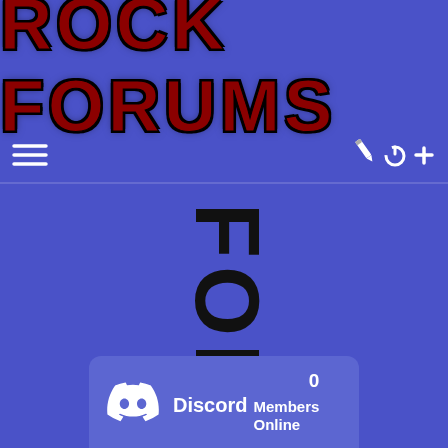ROCK FORUMS
[Figure (screenshot): Navigation toolbar with hamburger menu icon on left and pencil, plus, power icons on right, white icons on blue background]
[Figure (other): The word FORUMS displayed vertically in large black bold distressed font, rotated 90 degrees, on blue background]
[Figure (other): Discord widget showing Discord logo, the word Discord in bold white, Members Online label, and 0 members online count, on a lighter blue rounded rectangle]